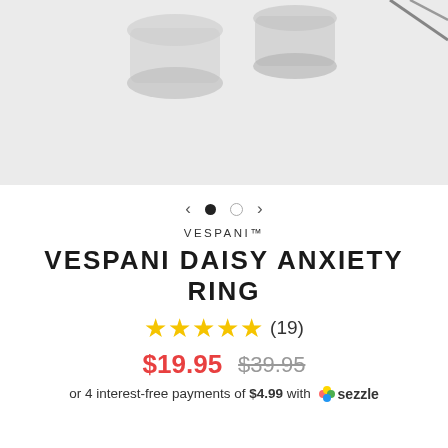[Figure (photo): Product photo of Vespani Daisy Anxiety Ring – silver rings on light gray background, partially cropped at top]
< • ○ >
VESPANI™
VESPANI DAISY ANXIETY RING
★★★★★ (19)
$19.95  $39.95
or 4 interest-free payments of $4.99 with  sezzle